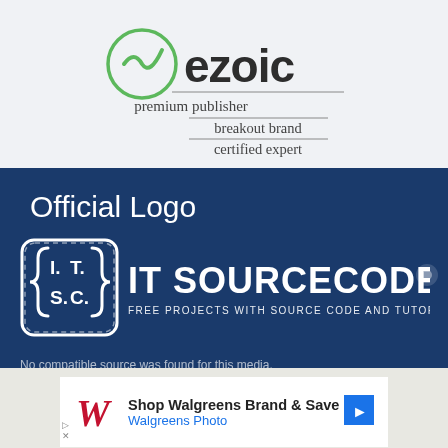[Figure (logo): Ezoic premium publisher breakout brand certified expert logo badge with green circle checkmark icon and bold ezoic text]
Official Logo
[Figure (logo): IT Sourcecode logo - white bracket icon with I.T. S.C. text and IT SOURCECODE brand name with tagline FREE PROJECTS WITH SOURCE CODE AND TUTORIALS on dark blue background. Error text: No compatible source was found for this media.]
[Figure (other): Advertisement banner: Shop Walgreens Brand & Save, Walgreens Photo with Walgreens cursive W logo and blue arrow navigation icon]